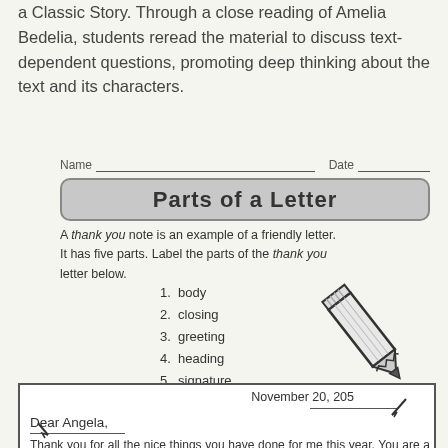a Classic Story. Through a close reading of Amelia Bedelia, students reread the material to discuss text-dependent questions, promoting deep thinking about the text and its characters.
Parts of a Letter
A thank you note is an example of a friendly letter. It has five parts. Label the parts of the thank you letter below.
1. body
2. closing
3. greeting
4. heading
5. signature
[Figure (illustration): Drawing of a pencil tilted diagonally]
November 20, 205
Dear Angela,
Thank you for all the nice things you have done for me this year. You are a good friend. I appreciate all the